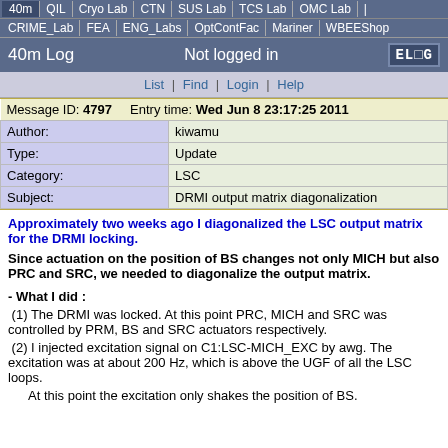40m | QIL | Cryo Lab | CTN | SUS Lab | TCS Lab | OMC Lab | CRIME_Lab | FEA | ENG_Labs | OptContFac | Mariner | WBEEShop
40m Log   Not logged in   ELOG
List | Find | Login | Help
| Message ID: 4797 | Entry time: Wed Jun 8 23:17:25 2011 |
| Author: | kiwamu |
| Type: | Update |
| Category: | LSC |
| Subject: | DRMI output matrix diagonalization |
Approximately two weeks ago I diagonalized the LSC output matrix for the DRMI locking.
Since actuation on the position of BS changes not only MICH but also PRC and SRC, we needed to diagonalize the output matrix.
- What I did :
(1) The DRMI was locked. At this point PRC, MICH and SRC was controlled by PRM, BS and SRC actuators respectively.
(2) I injected excitation signal on C1:LSC-MICH_EXC by awg. The excitation was at about 200 Hz, which is above the UGF of all the LSC loops.
At this point the excitation only shakes the position of BS.